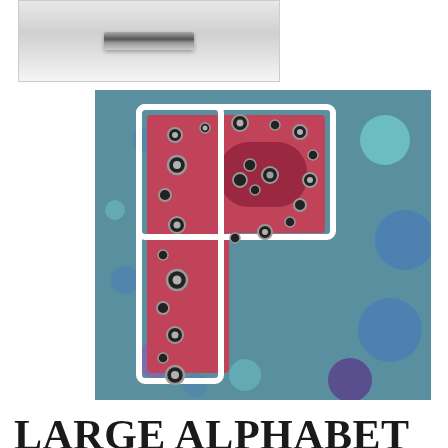[Figure (photo): Top partial image showing a metal baking tin or cake mold with a dark metallic bar or handle visible against a light gray background]
[Figure (photo): A pink letter P shaped cake tin decorated with black and silver pearl balls, sitting on a teal background with colorful polka dots in blue, purple, and teal]
LARGE ALPHABET P SHAPE CAKE TIN BIRTHDAY CAKE